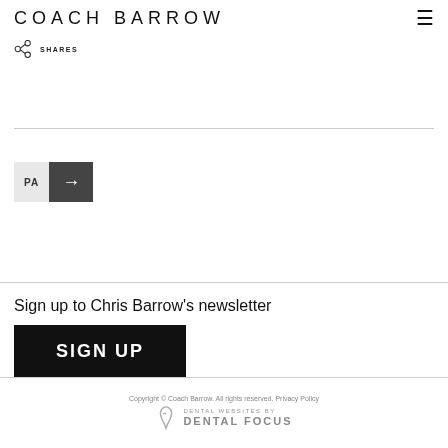COACH BARROW
SHARES
PA →
Sign up to Chris Barrow's newsletter
SIGN UP
Copyright © Coach Barrow. All rights reserved. Privacy Policy  DENTAL WEBSITES BY DENTAL FOCUS